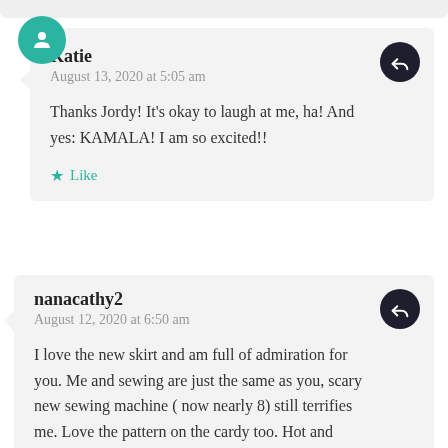Katie
August 13, 2020 at 5:05 am
Thanks Jordy! It's okay to laugh at me, ha! And yes: KAMALA! I am so excited!!
nanacathy2
August 12, 2020 at 6:50 am
I love the new skirt and am full of admiration for you. Me and sewing are just the same as you, scary new sewing machine ( now nearly 8) still terrifies me. Love the pattern on the cardy too. Hot and muggy in England too, roll on September!